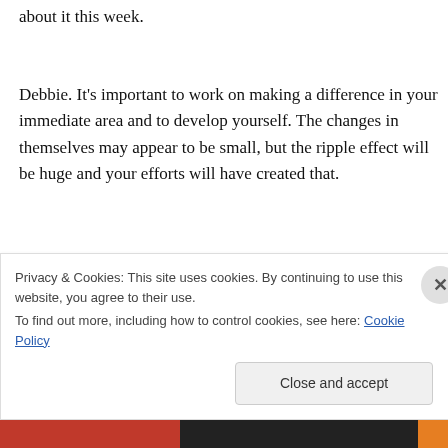about it this week.
Debbie. It's important to work on making a difference in your immediate area and to develop yourself. The changes in themselves may appear to be small, but the ripple effect will be huge and your efforts will have created that.
Art, in all its forms, is the thing to bind us, to relieve us, to make us happy and to make us think. As far as I'm concerned, anyone who
Privacy & Cookies: This site uses cookies. By continuing to use this website, you agree to their use.
To find out more, including how to control cookies, see here: Cookie Policy